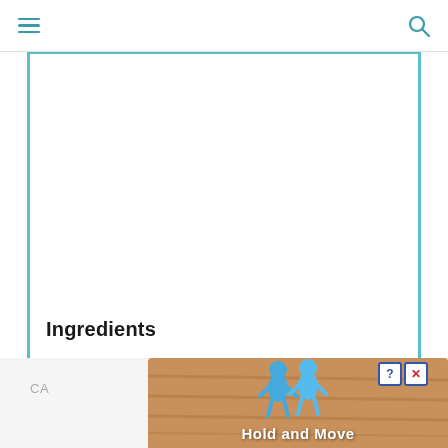Navigation bar with hamburger menu and search icon
[Figure (screenshot): White content area with teal left and right border bars, largely blank white space]
Ingredients
[Figure (illustration): Advertisement banner at bottom: Hold and Move game ad with two blue 3D figures and wooden plank background, help and close buttons, partially visible CA text on left]